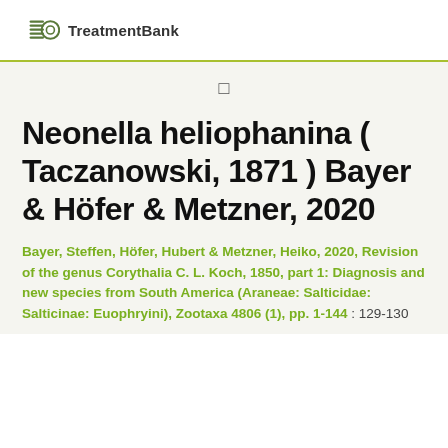TreatmentBank
[Figure (logo): TreatmentBank logo with stacked lines and circle icon]
Neonella heliophanina ( Taczanowski, 1871 ) Bayer & Höfer & Metzner, 2020
Bayer, Steffen, Höfer, Hubert & Metzner, Heiko, 2020, Revision of the genus Corythalia C. L. Koch, 1850, part 1: Diagnosis and new species from South America (Araneae: Salticidae: Salticinae: Euophryini), Zootaxa 4806 (1), pp. 1-144 : 129-130